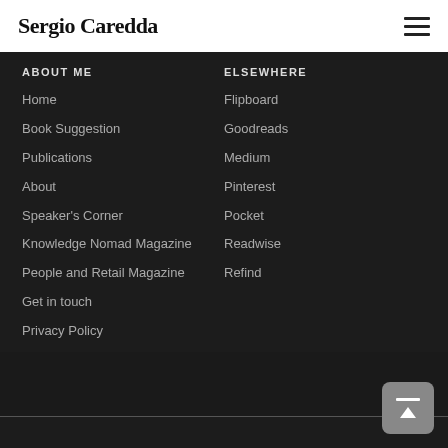Sergio Caredda
ABOUT ME
ELSEWHERE
Home
Flipboard
Book Suggestion
Goodreads
Publications
Medium
About
Pinterest
Speaker's Corner
Pocket
Knowledge Nomad Magazine
Readwise
People and Retail Magazine
Refind
Get in touch
Privacy Policy